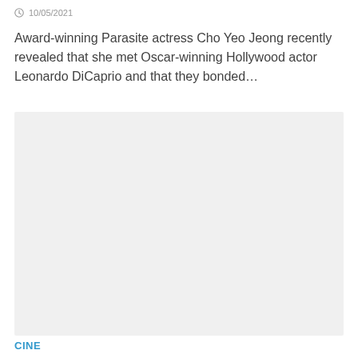10/05/2021
Award-winning Parasite actress Cho Yeo Jeong recently revealed that she met Oscar-winning Hollywood actor Leonardo DiCaprio and that they bonded...
[Figure (photo): Image placeholder (light gray background, no image loaded)]
CINE